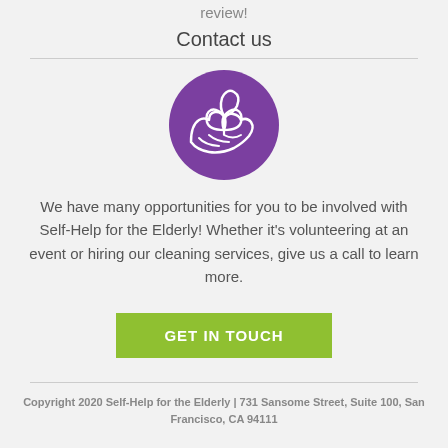review!
Contact us
[Figure (logo): Purple circle with white hand holding a leaf/flower icon — Self-Help for the Elderly logo]
We have many opportunities for you to be involved with Self-Help for the Elderly! Whether it's volunteering at an event or hiring our cleaning services, give us a call to learn more.
GET IN TOUCH
Copyright 2020 Self-Help for the Elderly | 731 Sansome Street, Suite 100, San Francisco, CA 94111